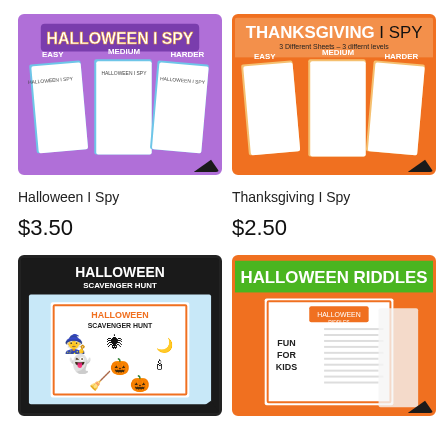[Figure (illustration): Halloween I Spy product thumbnail showing purple background with three worksheet pages labeled Easy, Medium, Harder with Halloween icons]
[Figure (illustration): Thanksgiving I Spy product thumbnail showing orange background with three worksheet pages labeled Easy, Medium, Harder with Thanksgiving icons]
Halloween I Spy
Thanksgiving I Spy
$3.50
$2.50
[Figure (illustration): Halloween Scavenger Hunt product thumbnail showing black border with scavenger hunt worksheet on light blue background with Halloween silhouette icons]
[Figure (illustration): Halloween Riddles product thumbnail showing orange background with riddles worksheet pages labeled Fun For Kids with Halloween riddles list]